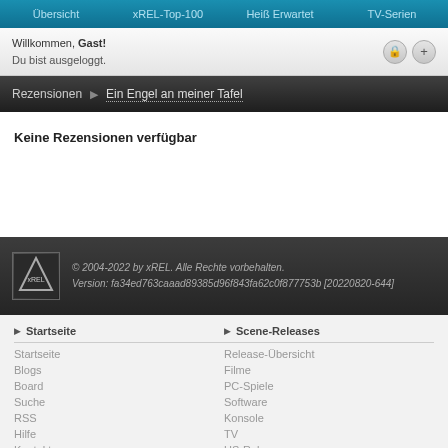Übersicht   xREL-Top-100   Heiß Erwartet   TV-Serien
Willkommen, Gast!
Du bist ausgeloggt.
Rezensionen ▶ Ein Engel an meiner Tafel
Keine Rezensionen verfügbar
© 2004-2022 by xREL. Alle Rechte vorbehalten.
Version: fa34ed763caaad89385d96f843fa62c0f877753b [20220820-644]
▶ Startseite
Startseite
Blogs
Board
Suche
RSS
Hilfe
Kontakt
▶ Scene-Releases
Release-Übersicht
Filme
PC-Spiele
Software
Konsole
TV
US-Releases